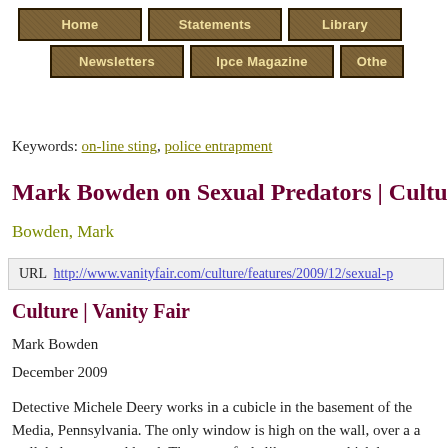[Figure (other): Navigation bar with buttons: Home, Statements, Library (top row); Newsletters, Ipce Magazine, Other (bottom row). Brown textured buttons with gold text.]
Keywords: on-line sting, police entrapment
Mark Bowden on Sexual Predators | Culture | Va
Bowden, Mark
URL  http://www.vanityfair.com/culture/features/2009/12/sexual-p
Culture | Vanity Fair
Mark Bowden
December 2009
Detective Michele Deery works in a cubicle in the basement of the Media, Pennsylvania. The only window is high on the wall, over a a well, below ground level. The space feels like a cave, which has a